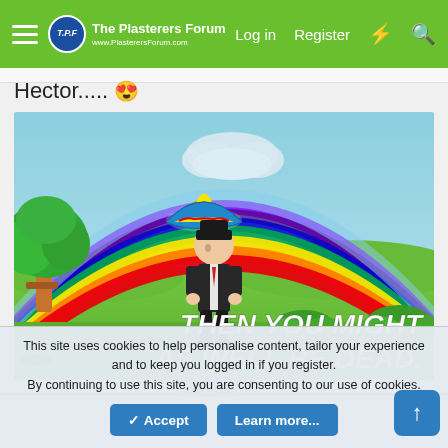The Plasterers Forum — Log in | Register
Hector..... 😍
[Figure (illustration): Animated cartoon illustration of a sad man in a black suit walking with a rainbow-colored umbrella under a bright rainbow in a green landscape. Text overlay reads: THEN YOU MIGHT AS WELL BE DEAD.]
This site uses cookies to help personalise content, tailor your experience and to keep you logged in if you register. By continuing to use this site, you are consenting to our use of cookies.